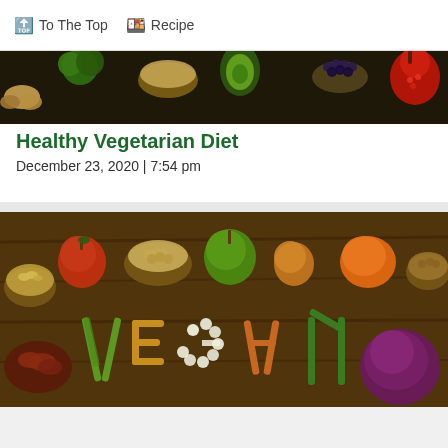⬆ To The Top  🍱 Recipe
[Figure (photo): Banner photo of assorted vegetables, grains, fruits including broccoli, avocado, blueberries, pomegranate, ginger on dark background]
Healthy Vegetarian Diet
December 23, 2020  |  7:54 pm
[Figure (photo): Photo of vegan foods arranged on wooden table with word VEGAN spelled out using vegetables and legumes]
To make this site work properly, we sometimes place small data files called cookies on your device.
December 23, 2020  |  7:38 pm